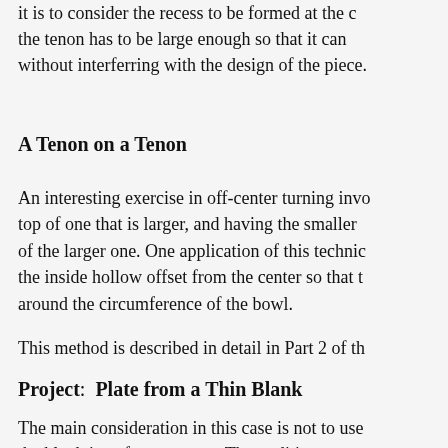it is to consider the recess to be formed at the c the tenon has to be large enough so that it can without interferring with the design of the piece.
A Tenon on a Tenon
An interesting exercise in off-center turning invo top of one that is larger, and having the smaller of the larger one. One application of this technic the inside hollow offset from the center so that t around the circumference of the bowl.
This method is described in detail in Part 2 of th
Project:  Plate from a Thin Blank
The main consideration in this case is not to use the blank is to form a tenon. The tradition